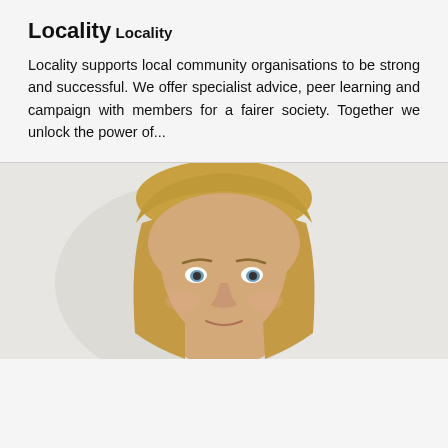Locality
Locality
Locality supports local community organisations to be strong and successful. We offer specialist advice, peer learning and campaign with members for a fairer society. Together we unlock the power of...
[Figure (photo): Headshot photo of a blonde woman looking at the camera, against a light background]